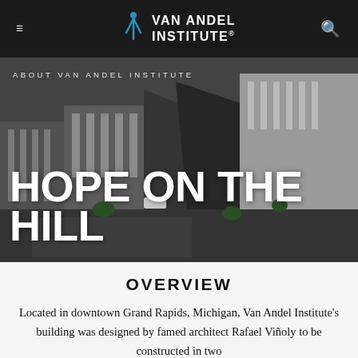VAN ANDEL INSTITUTE®
[Figure (photo): Aerial architectural rendering/photo of Van Andel Institute building in downtown Grand Rapids, Michigan, showing modern angular architecture with dark facade.]
ABOUT VAN ANDEL INSTITUTE
HOPE ON THE HILL
OVERVIEW
Located in downtown Grand Rapids, Michigan, Van Andel Institute's building was designed by famed architect Rafael Viñoly to be constructed in two